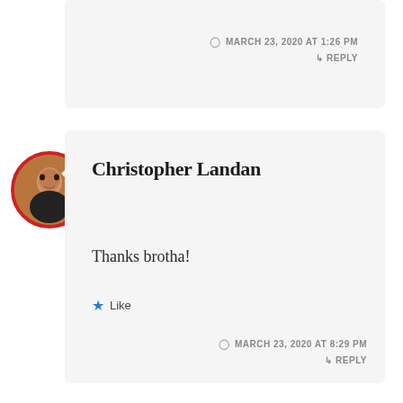MARCH 23, 2020 AT 1:26 PM
↳ REPLY
[Figure (photo): Circular avatar photo of Christopher Landan with red border]
Christopher Landan
Thanks brotha!
★ Like
MARCH 23, 2020 AT 8:29 PM
↳ REPLY